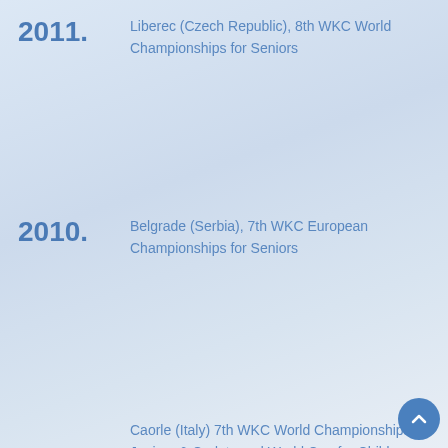2011. Liberec (Czech Republic), 8th WKC World Championships for Seniors
2010. Belgrade (Serbia), 7th WKC European Championships for Seniors
Caorle (Italy) 7th WKC World Championships for Juniors & Cadets and World Cup for Children
2009. Fort Lauderdale (USA), 5th WKC World Championships for Seniors
2008. Banja Luka (Rep. Srpska), 6th WKC European Championships for Seniors